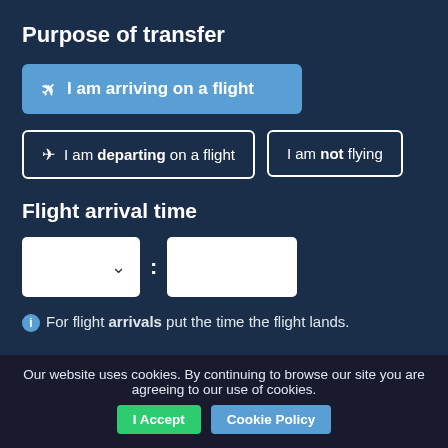Purpose of transfer
✈ I am arriving on a flight
✈ I am departing on a flight
I am not flying
Flight arrival time
ⓘ For flight arrivals put the time the flight lands.
Return or one-way?
Our website uses cookies. By continuing to browse our site you are agreeing to our use of cookies.